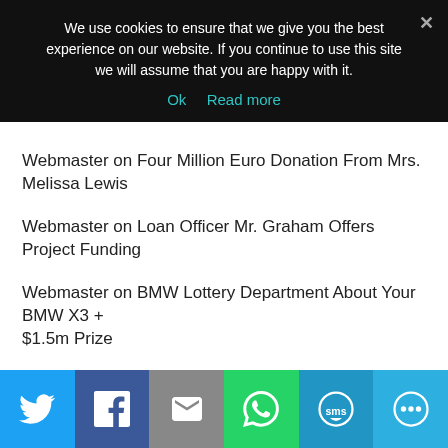We use cookies to ensure that we give you the best experience on our website. If you continue to use this site we will assume that you are happy with it.
Ok   Read more
Webmaster on Four Million Euro Donation From Mrs. Melissa Lewis
Webmaster on Loan Officer Mr. Graham Offers Project Funding
Webmaster on BMW Lottery Department About Your BMW X3 + $1.5m Prize
Linda on BMW Lottery Department About Your BMW X3 + $1.5m Prize
[Figure (infographic): Social share bar with Twitter, Facebook, Email, WhatsApp, SMS, and share icons on colored backgrounds]